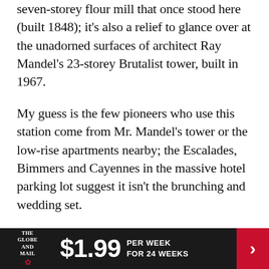seven-storey flour mill that once stood here (built 1848); it's also a relief to glance over at the unadorned surfaces of architect Ray Mandel's 23-storey Brutalist tower, built in 1967.
My guess is the few pioneers who use this station come from Mr. Mandel's tower or the low-rise apartments nearby; the Escalades, Bimmers and Cayennes in the massive hotel parking lot suggest it isn't the brunching and wedding set.
To find any density at all, I walk 11 minutes east along Bloor Street West. By the South Kingsway, blessed retail graces both sides of the street, as well as professional offices, restaurants and cafés.
That's why Jane station hosts 18,150 passengers...
[Figure (infographic): The Globe and Mail subscription advertisement banner: $1.99 per week for 24 weeks, with red arrow button on right]